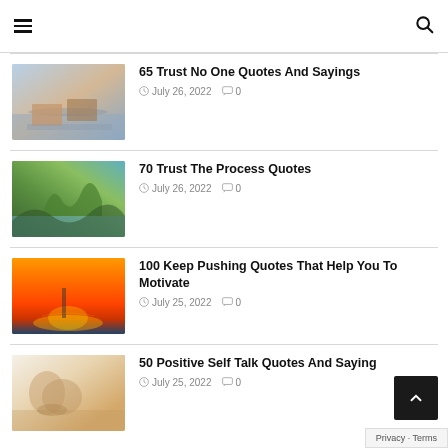hamburger menu and search icon
65 Trust No One Quotes And Sayings — July 26, 2022 — 0 comments
70 Trust The Process Quotes — July 26, 2022 — 0 comments
100 Keep Pushing Quotes That Help You To Motivate — July 25, 2022 — 0 comments
50 Positive Self Talk Quotes And Sayings — July 25, 2022 — 0 comments